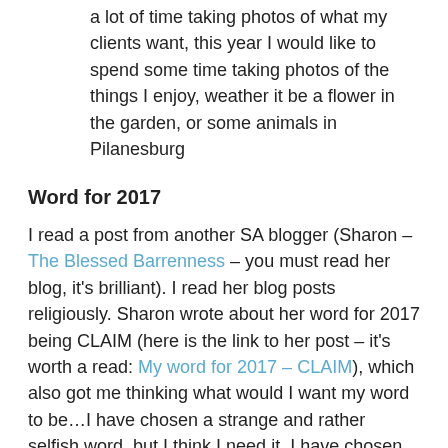a lot of time taking photos of what my clients want, this year I would like to spend some time taking photos of the things I enjoy, weather it be a flower in the garden, or some animals in Pilanesburg
Word for 2017
I read a post from another SA blogger (Sharon – The Blessed Barrenness – you must read her blog, it's brilliant). I read her blog posts religiously. Sharon wrote about her word for 2017 being CLAIM (here is the link to her post – it's worth a read: My word for 2017 – CLAIM), which also got me thinking what would I want my word to be…I have chosen a strange and rather selfish word, but I think I need it. I have chosen ME.
I feel that 2017 has to be about ME, there is a lot I feel like I need to do on myself and for myself this year. I feel like I have forgotten about ME and just focused and dealt with